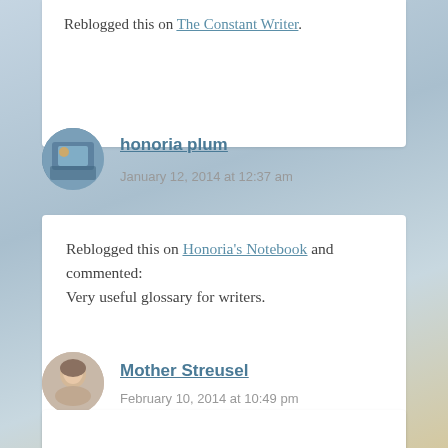Reblogged this on The Constant Writer.
honoria plum — January 12, 2014 at 12:37 am
Reblogged this on Honoria's Notebook and commented: Very useful glossary for writers.
Mother Streusel — February 10, 2014 at 10:49 pm